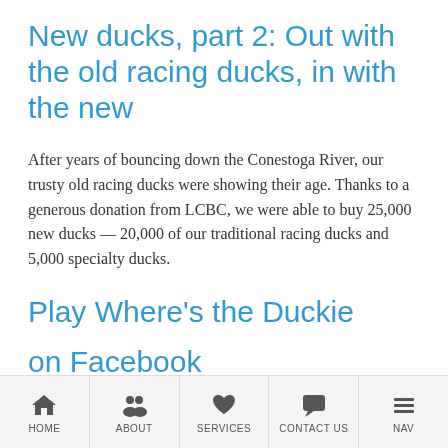New ducks, part 2: Out with the old racing ducks, in with the new
After years of bouncing down the Conestoga River, our trusty old racing ducks were showing their age. Thanks to a generous donation from LCBC, we were able to buy 25,000 new ducks — 20,000 of our traditional racing ducks and 5,000 specialty ducks.
Play Where's the Duckie
on Facebook
HOME | ABOUT | SERVICES | CONTACT US | NAV